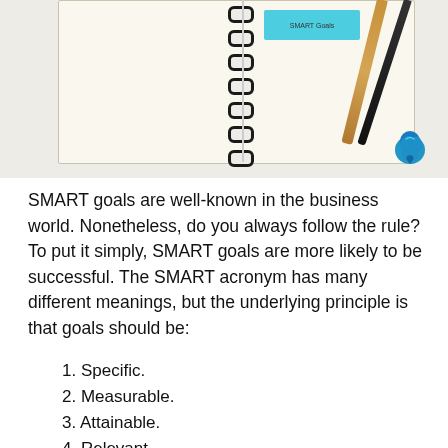[Figure (photo): Photo of an open spiral notebook with a sticky note, alongside gold and black pencils, and a blue brain icon, on a light background.]
SMART goals are well-known in the business world. Nonetheless, do you always follow the rule? To put it simply, SMART goals are more likely to be successful. The SMART acronym has many different meanings, but the underlying principle is that goals should be:
1. Specific.
2. Measurable.
3. Attainable.
4. Relevant.
5. Time-Bound.